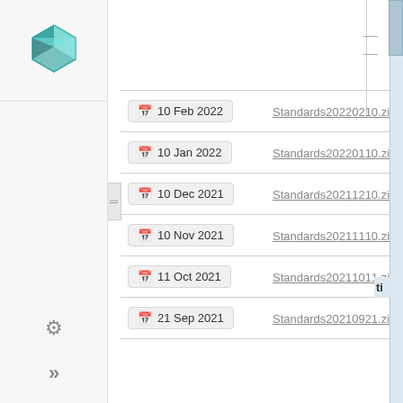[Figure (logo): Green diamond/gem logo icon in sidebar]
| Date | File |
| --- | --- |
| 10 Feb 2022 | Standards20220210.zip |
| 10 Jan 2022 | Standards20220110.zip |
| 10 Dec 2021 | Standards20211210.zip |
| 10 Nov 2021 | Standards20211110.zip |
| 11 Oct 2021 | Standards20211011.zip |
| 21 Sep 2021 | Standards20210921.zip |